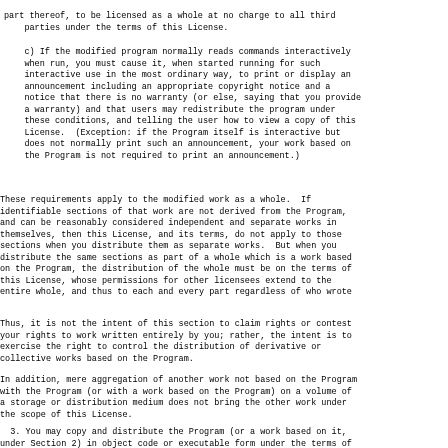part thereof, to be licensed as a whole at no charge to all third parties under the terms of this License.
c) If the modified program normally reads commands interactively when run, you must cause it, when started running for such interactive use in the most ordinary way, to print or display an announcement including an appropriate copyright notice and a notice that there is no warranty (or else, saying that you provide a warranty) and that users may redistribute the program under these conditions, and telling the user how to view a copy of this License.  (Exception: if the Program itself is interactive but does not normally print such an announcement, your work based on the Program is not required to print an announcement.)
These requirements apply to the modified work as a whole.  If identifiable sections of that work are not derived from the Program, and can be reasonably considered independent and separate works in themselves, then this License, and its terms, do not apply to those sections when you distribute them as separate works.  But when you distribute the same sections as part of a whole which is a work based on the Program, the distribution of the whole must be on the terms of this License, whose permissions for other licensees extend to the entire whole, and thus to each and every part regardless of who wrote
Thus, it is not the intent of this section to claim rights or contest your rights to work written entirely by you; rather, the intent is to exercise the right to control the distribution of derivative or collective works based on the Program.
In addition, mere aggregation of another work not based on the Program with the Program (or with a work based on the Program) on a volume of a storage or distribution medium does not bring the other work under the scope of this License.
3. You may copy and distribute the Program (or a work based on it, under Section 2) in object code or executable form under the terms of Sections 1 and 2 above provided that you also do one of the following: